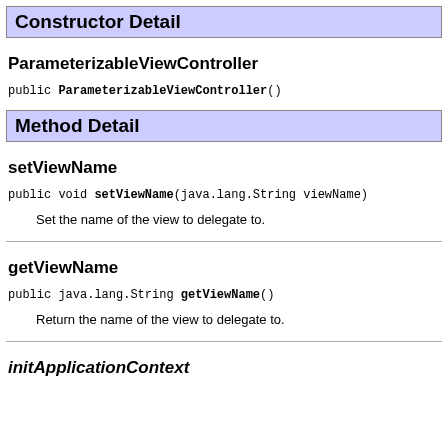Constructor Detail
ParameterizableViewController
public ParameterizableViewController()
Method Detail
setViewName
public void setViewName(java.lang.String viewName)
Set the name of the view to delegate to.
getViewName
public java.lang.String getViewName()
Return the name of the view to delegate to.
initApplicationContext